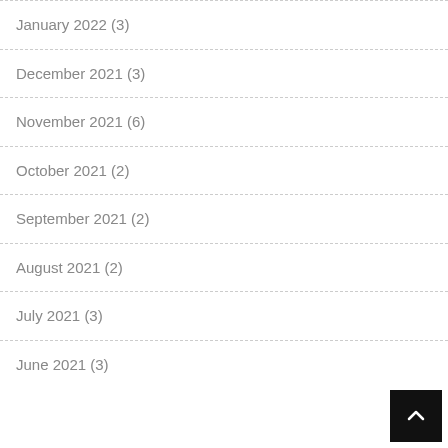January 2022 (3)
December 2021 (3)
November 2021 (6)
October 2021 (2)
September 2021 (2)
August 2021 (2)
July 2021 (3)
June 2021 (3)